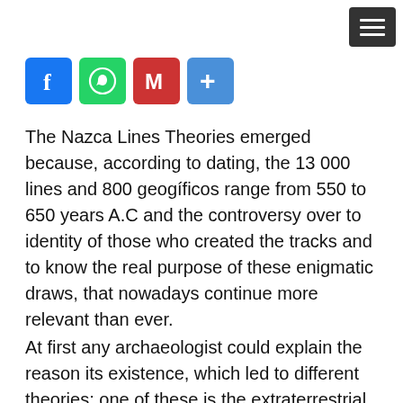[Figure (infographic): Social share buttons bar: Facebook (blue), WhatsApp (green), Gmail (red), More/Plus (blue)]
The Nazca Lines Theories emerged because, according to dating, the 13 000 lines and 800 geogíficos range from 550 to 650 years A.C and the controversy over to identity of those who created the tracks and to know the real purpose of these enigmatic draws, that nowadays continue more relevant than ever.
At first any archaeologist could explain the reason its existence, which led to different theories: one of these is the extraterrestrial theory suggested by an amateur archaeologist from Switzerland named Erich von Däniken, according to which the drawing was a track trapezoidal landing craft built by aliens who visited the Earth long time